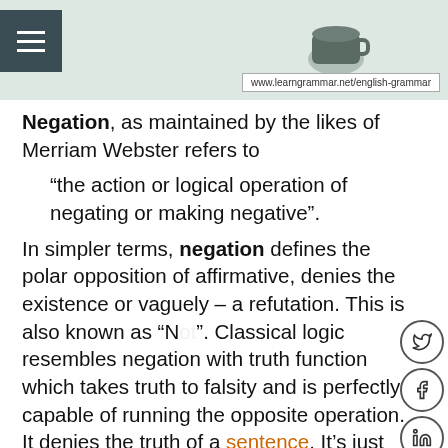[Figure (screenshot): Website header banner with light green/grey background showing a partial illustration (coffee mug visible top right), hamburger menu icon top left, and URL box showing www.learngrammar.net/english-grammar]
Negation, as maintained by the likes of Merriam Webster refers to
“the action or logical operation of negating or making negative”.
In simpler terms, negation defines the polar opposition of affirmative, denies the existence or vaguely – a refutation. This is also known as “Not”. Classical logic resembles negation with truth function which takes truth to falsity and is perfectly capable of running the opposite operation. It denies the truth of a sentence. It’s just the conversion of the affirmative sentence which